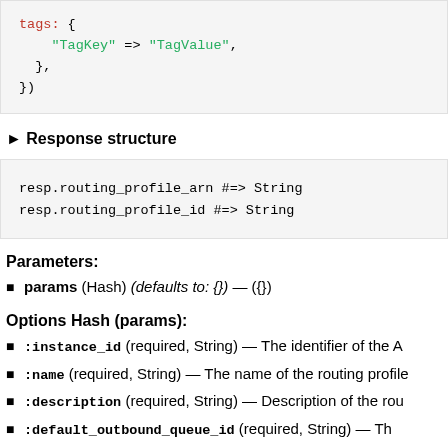[Figure (screenshot): Code block showing Ruby syntax with tags hash: { "TagKey" => "TagValue", }, })]
▶ Response structure
[Figure (screenshot): Code block showing: resp.routing_profile_arn #=> String
resp.routing_profile_id #=> String]
Parameters:
params (Hash) (defaults to: {}) — ({})
Options Hash (params):
:instance_id (required, String) — The identifier of the A
:name (required, String) — The name of the routing profile
:description (required, String) — Description of the rou
:default_outbound_queue_id (required, String) — Th
:queue_configs (Array<Types::RoutingProfileQue